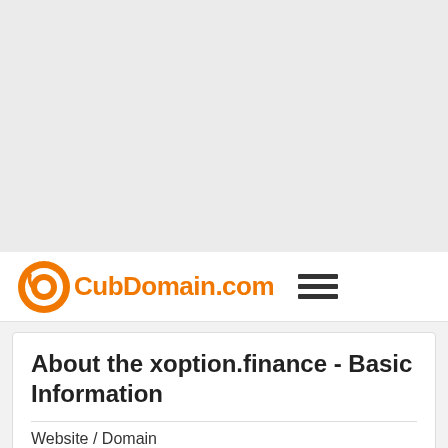[Figure (other): Gray advertisement/placeholder area at the top of the page]
CubDomain.com
About the xoption.finance - Basic Information
Website / Domain